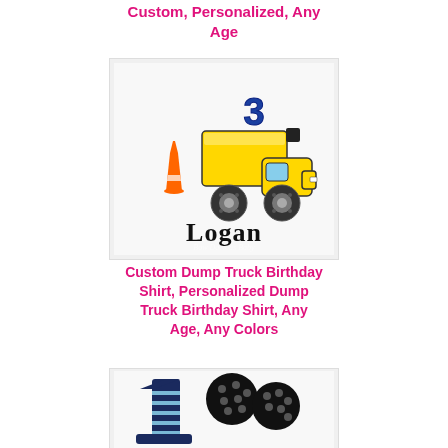Custom, Personalized, Any Age
[Figure (illustration): Custom birthday shirt design featuring a yellow dump truck with a blue number 3, an orange traffic cone, and the name Logan in black decorative font. Watermark reads Bow Dacious Baby.]
Custom Dump Truck Birthday Shirt, Personalized Dump Truck Birthday Shirt, Any Age, Any Colors
[Figure (illustration): Partially visible birthday shirt design featuring a navy chevron number 1 and black polka dot Mickey Mouse ears.]